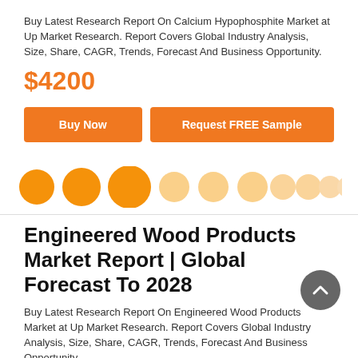Buy Latest Research Report On Calcium Hypophosphite Market at Up Market Research. Report Covers Global Industry Analysis, Size, Share, CAGR, Trends, Forecast And Business Opportunity.
$4200
[Figure (other): Two orange buttons: 'Buy Now' and 'Request FREE Sample']
[Figure (other): A row of 10 circles in fading orange color, used as a carousel indicator]
Engineered Wood Products Market Report | Global Forecast To 2028
Buy Latest Research Report On Engineered Wood Products Market at Up Market Research. Report Covers Global Industry Analysis, Size, Share, CAGR, Trends, Forecast And Business Opportunity.
$4200
[Figure (other): Two orange buttons partially visible at bottom: 'Buy Now' and 'Request FREE Sample']